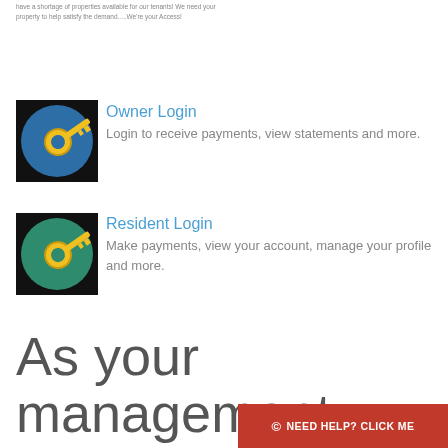have a shortage of properties available for our tenants! We need your property to help satisfy the demand.....We're your Access!
[Figure (illustration): Key icon on dark blue circular background, representing Owner Login]
Owner Login
Login to receive payments, view statements and more.
[Figure (illustration): Key icon on teal/green circular background, representing Resident Login]
Resident Login
Make payments, view your account, manage your profile and more.
As your management team, we guarantee:
© NEED HELP? CLICK ME